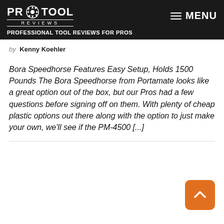PRO TOOL REVIEWS — PROFESSIONAL TOOL REVIEWS FOR PROS | MENU
by Kenny Koehler
Bora Speedhorse Features Easy Setup, Holds 1500 Pounds The Bora Speedhorse from Portamate looks like a great option out of the box, but our Pros had a few questions before signing off on them. With plenty of cheap plastic options out there along with the option to just make your own, we'll see if the PM-4500 [...]
[Figure (other): Orange back-to-top button with upward chevron arrow in bottom right corner]